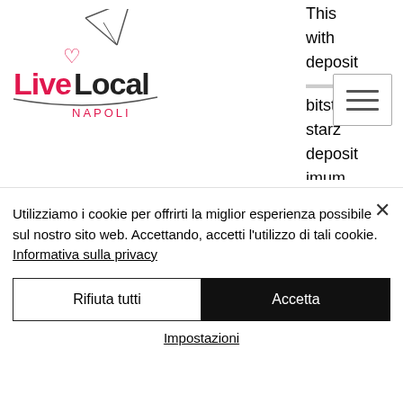[Figure (logo): LiveLocal Napoli logo with heart and paper plane icon]
This with deposit minimum bitstarz starz deposit imum
is 100. The bitstarz vip bonus is a 125 percent deposit bonus up to 1 btc that also comes with 100 free spins and 40x rollover conditions. The minimum deposit is. Com
Utilizziamo i cookie per offrirti la miglior esperienza possibile sul nostro sito web. Accettando, accetti l'utilizzo di tali cookie. Informativa sulla privacy
Rifiuta tutti
Accetta
Impostazioni